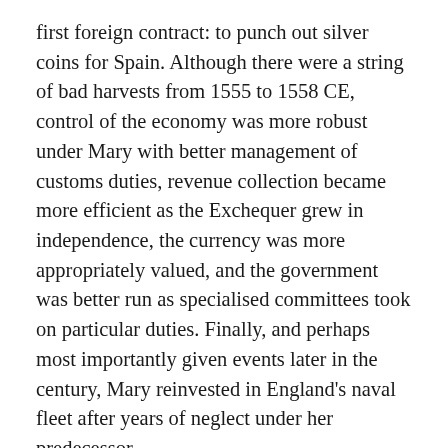first foreign contract: to punch out silver coins for Spain. Although there were a string of bad harvests from 1555 to 1558 CE, control of the economy was more robust under Mary with better management of customs duties, revenue collection became more efficient as the Exchequer grew in independence, the currency was more appropriately valued, and the government was better run as specialised committees took on particular duties. Finally, and perhaps most importantly given events later in the century, Mary reinvested in England's naval fleet after years of neglect under her predecessor.
'Bloody Mary'
On 20 November 1554 CE the papal legate